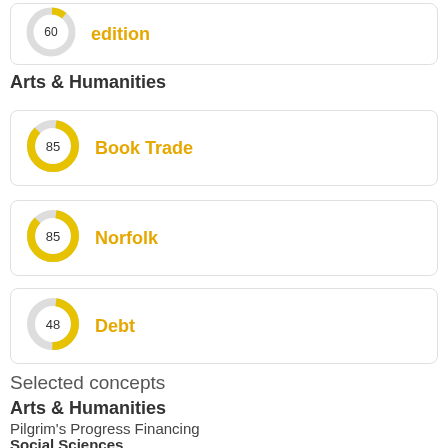[Figure (donut-chart): edition]
Arts & Humanities
[Figure (donut-chart): Book Trade]
[Figure (donut-chart): Norfolk]
[Figure (donut-chart): Debt]
Selected concepts
Arts & Humanities
Pilgrim's Progress Financing
Social Sciences